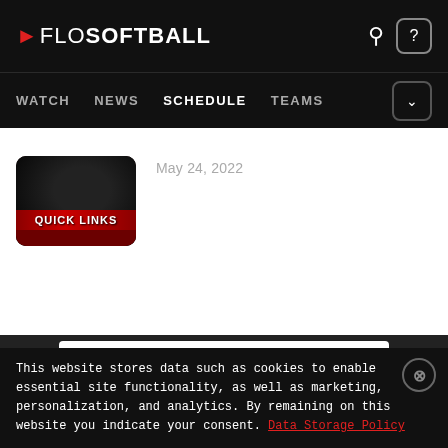FloSoftball — WATCH NEWS SCHEDULE TEAMS
[Figure (screenshot): Quick Links thumbnail image with red and black gradient background]
May 24, 2022
[Figure (infographic): Dunkin' ad: $3 Med Pumpkin Cream Cold Brew, Dunkin']
This website stores data such as cookies to enable essential site functionality, as well as marketing, personalization, and analytics. By remaining on this website you indicate your consent. Data Storage Policy